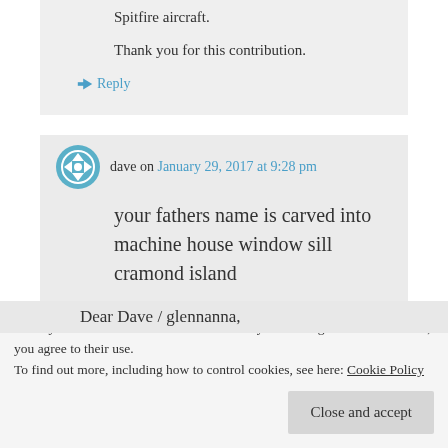Spitfire aircraft.
Thank you for this contribution.
↪ Reply
dave on January 29, 2017 at 9:28 pm
your fathers name is carved into machine house window sill cramond island
↪ Reply
Privacy & Cookies: This site uses cookies. By continuing to use this website, you agree to their use.
To find out more, including how to control cookies, see here: Cookie Policy
Close and accept
Dear Dave / glennanna,